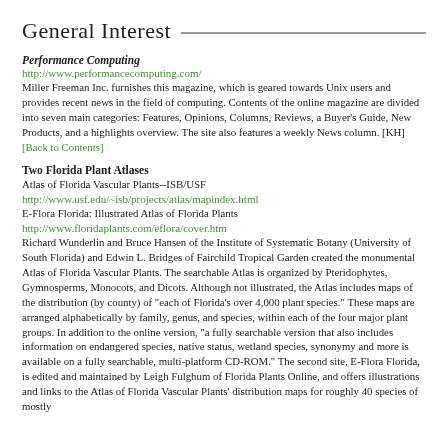General Interest
Performance Computing
http://www.performancecomputing.com/
Miller Freeman Inc. furnishes this magazine, which is geared towards Unix users and provides recent news in the field of computing. Contents of the online magazine are divided into seven main categories: Features, Opinions, Columns, Reviews, a Buyer's Guide, New Products, and a highlights overview. The site also features a weekly News column. [KH]
[Back to Contents]
Two Florida Plant Atlases
Atlas of Florida Vascular Plants--ISB/USF
http://www.usf.edu/~isb/projects/atlas/mapindex.html
E-Flora Florida: Illustrated Atlas of Florida Plants
http://www.floridaplants.com/eflora/cover.htm
Richard Wunderlin and Bruce Hansen of the Institute of Systematic Botany (University of South Florida) and Edwin L. Bridges of Fairchild Tropical Garden created the monumental Atlas of Florida Vascular Plants. The searchable Atlas is organized by Pteridophytes, Gymnosperms, Monocots, and Dicots. Although not illustrated, the Atlas includes maps of the distribution (by county) of "each of Florida's over 4,000 plant species." These maps are arranged alphabetically by family, genus, and species, within each of the four major plant groups. In addition to the online version, "a fully searchable version that also includes information on endangered species, native status, wetland species, synonymy and more is available on a fully searchable, multi-platform CD-ROM." The second site, E-Flora Florida, is edited and maintained by Leigh Fulghum of Florida Plants Online, and offers illustrations and links to the Atlas of Florida Vascular Plants' distribution maps for roughly 40 species of mostly